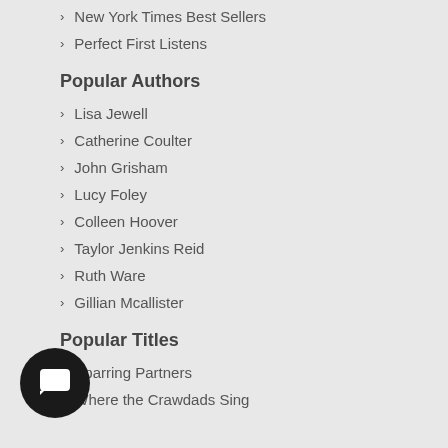New York Times Best Sellers
Perfect First Listens
Popular Authors
Lisa Jewell
Catherine Coulter
John Grisham
Lucy Foley
Colleen Hoover
Taylor Jenkins Reid
Ruth Ware
Gillian Mcallister
Popular Titles
Sparring Partners
Where the Crawdads Sing